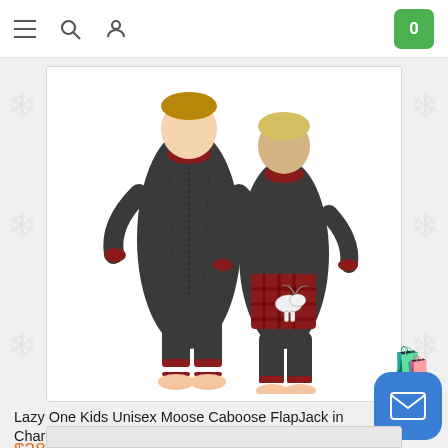Navigation bar with menu, search, user icons and cart (0)
[Figure (photo): Two children wearing dark charcoal flapjack pajamas with red trim and a moose caboose patch on the back. One child faces forward, the other faces backward.]
Lazy One Kids Unisex Moose Caboose FlapJack in Charcoal
$28.00